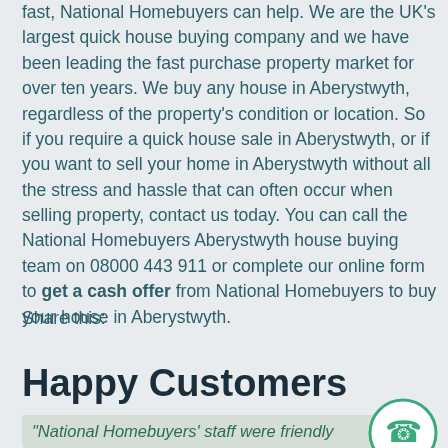fast, National Homebuyers can help. We are the UK's largest quick house buying company and we have been leading the fast purchase property market for over ten years. We buy any house in Aberystwyth, regardless of the property's condition or location. So if you require a quick house sale in Aberystwyth, or if you want to sell your home in Aberystwyth without all the stress and hassle that can often occur when selling property, contact us today. You can call the National Homebuyers Aberystwyth house buying team on 08000 443 911 or complete our online form to get a cash offer from National Homebuyers to buy your house in Aberystwyth.
Share this:
Happy Customers
"National Homebuyers' staff were friendly